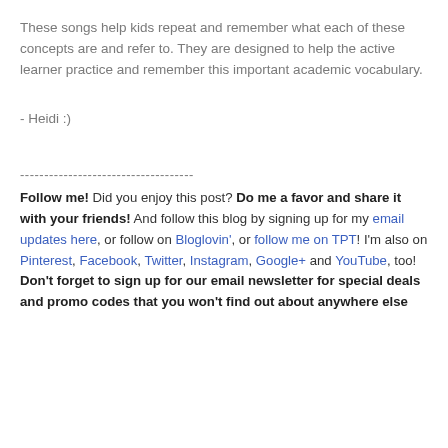These songs help kids repeat and remember what each of these concepts are and refer to. They are designed to help the active learner practice and remember this important academic vocabulary.
- Heidi :)
------------------------------------
Follow me! Did you enjoy this post? Do me a favor and share it with your friends! And follow this blog by signing up for my email updates here, or follow on Bloglovin', or follow me on TPT! I'm also on Pinterest, Facebook, Twitter, Instagram, Google+ and YouTube, too! Don't forget to sign up for our email newsletter for special deals and promo codes that you won't find out about anywhere else